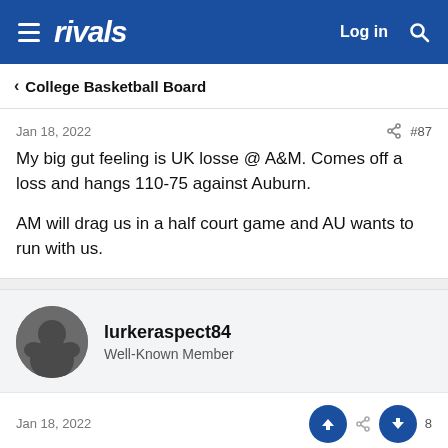rivals — Log in
< College Basketball Board
Jan 18, 2022  #87
My big gut feeling is UK losse @ A&M. Comes off a loss and hangs 110-75 against Auburn.

AM will drag us in a half court game and AU wants to run with us.
lurkeraspect84
Well-Known Member
Jan 18, 2022  #88